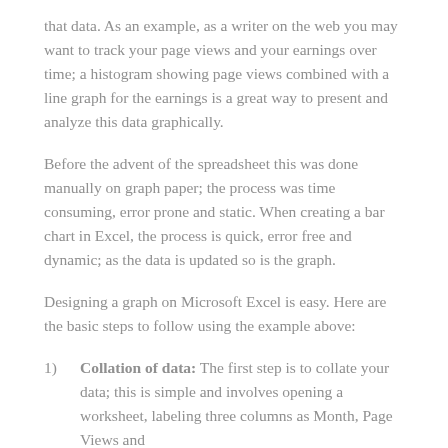that data. As an example, as a writer on the web you may want to track your page views and your earnings over time; a histogram showing page views combined with a line graph for the earnings is a great way to present and analyze this data graphically.
Before the advent of the spreadsheet this was done manually on graph paper; the process was time consuming, error prone and static. When creating a bar chart in Excel, the process is quick, error free and dynamic; as the data is updated so is the graph.
Designing a graph on Microsoft Excel is easy. Here are the basic steps to follow using the example above:
1) Collation of data: The first step is to collate your data; this is simple and involves opening a worksheet, labeling three columns as Month, Page Views and